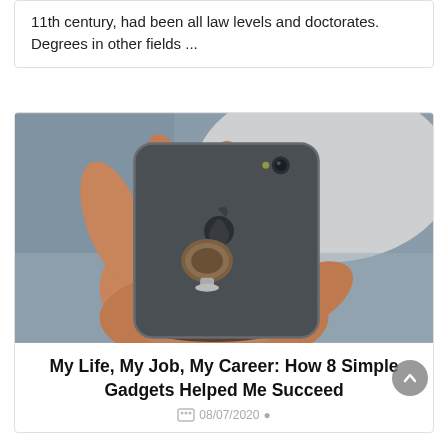11th century, had been all law levels and doctorates. Degrees in other fields ...
[Figure (photo): A hand holding a space grey iPhone with a ring holder/pop socket attached to the back, photographed from behind. Person wearing a beaded bracelet.]
My Life, My Job, My Career: How 8 Simple Gadgets Helped Me Succeed
08/07/2020